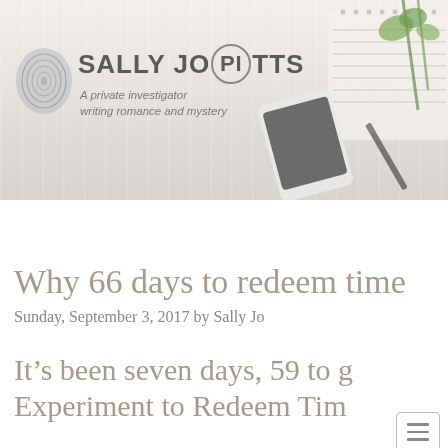[Figure (illustration): Blog header banner for Sally Jo Pitts website. Light wood grain background with a smartphone, notepad, pen, and green rose stems on the right side. Sally Jo Pitts logo with fingerprint icon on the left, text reads SALLY JO PITTS with PI in a circle, tagline: A private investigator writing romance and mystery.]
[Figure (other): Hamburger menu icon button with three horizontal lines, white background with gray border, top right of navigation area.]
Why 66 days to redeem time
Sunday, September 3, 2017 by Sally Jo
It's been seven days, 59 to go. Experiment to Redeem Tim